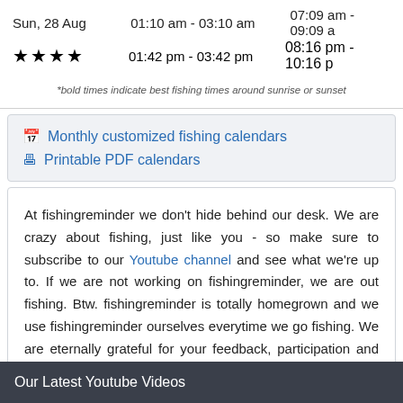Sun, 28 Aug   01:10 am - 03:10 am   07:09 am - 09:09 a
★★★★   01:42 pm - 03:42 pm   08:16 pm - 10:16 p
*bold times indicate best fishing times around sunrise or sunset
Monthly customized fishing calendars
Printable PDF calendars
At fishingreminder we don't hide behind our desk. We are crazy about fishing, just like you - so make sure to subscribe to our Youtube channel and see what we're up to. If we are not working on fishingreminder, we are out fishing. Btw. fishingreminder is totally homegrown and we use fishingreminder ourselves everytime we go fishing. We are eternally grateful for your feedback, participation and support.
Our Latest Youtube Videos